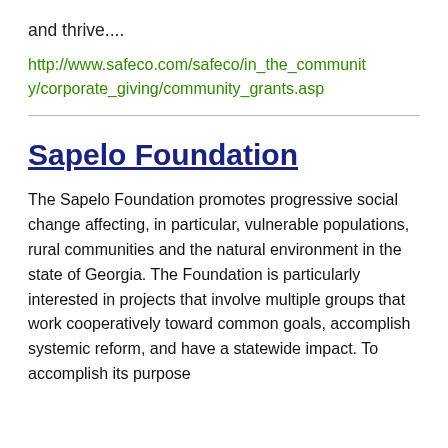and thrive....
http://www.safeco.com/safeco/in_the_community/corporate_giving/community_grants.asp
Sapelo Foundation
The Sapelo Foundation promotes progressive social change affecting, in particular, vulnerable populations, rural communities and the natural environment in the state of Georgia. The Foundation is particularly interested in projects that involve multiple groups that work cooperatively toward common goals, accomplish systemic reform, and have a statewide impact. To accomplish its purpose